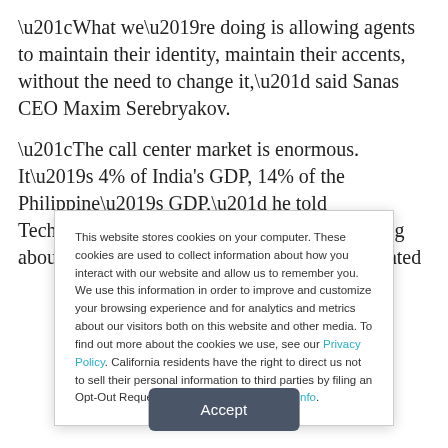“What we’re doing is allowing agents to maintain their identity, maintain their accents, without the need to change it,” said Sanas CEO Maxim Serebryakov.
“The call center market is enormous. It’s 4% of India’s GDP, 14% of the Philippine’s GDP,” he told TechNewsWorld. “We’re not talking about a few thousand people getting discriminated
This website stores cookies on your computer. These cookies are used to collect information about how you interact with our website and allow us to remember you. We use this information in order to improve and customize your browsing experience and for analytics and metrics about our visitors both on this website and other media. To find out more about the cookies we use, see our Privacy Policy. California residents have the right to direct us not to sell their personal information to third parties by filing an Opt-Out Request: Do Not Sell My Personal Info.
Accept